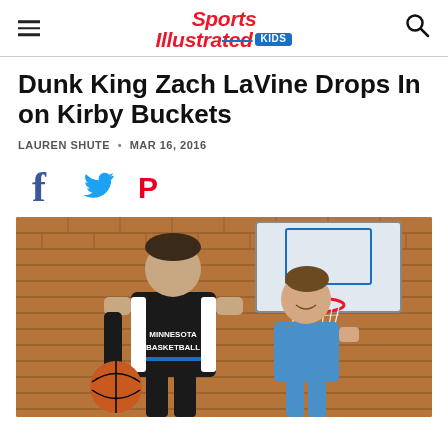Sports Illustrated KIDS
Dunk King Zach LaVine Drops In on Kirby Buckets
LAUREN SHUTE · MAR 16, 2016
[Figure (infographic): Social media share icons: Facebook, Twitter, Pinterest]
[Figure (photo): Zach LaVine in Minnesota Basketball jersey holding a basketball next to a young boy named Kirby, standing in front of a brick wall with a basketball hoop in the background]